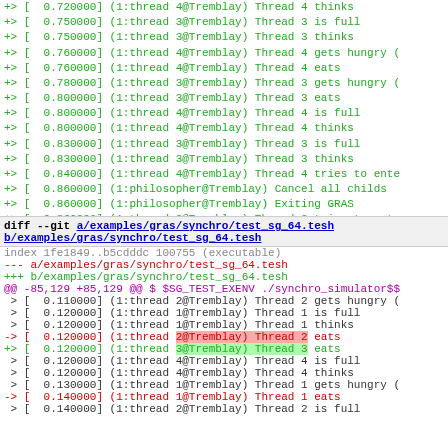Console output lines showing thread simulation timestamps and actions, green colored diff lines
diff --git a/examples/gras/synchro/test_sg_64.tesh b/examples/gras/synchro/test_sg_64.tesh
index 1fe1849..b5cdddc 100755 (executable)
--- a/examples/gras/synchro/test_sg_64.tesh
+++ b/examples/gras/synchro/test_sg_64.tesh
@@ -85,129 +85,129 @@ $ $SG_TEST_EXENV ./synchro_simulator$$
Context and diff lines showing thread simulation output